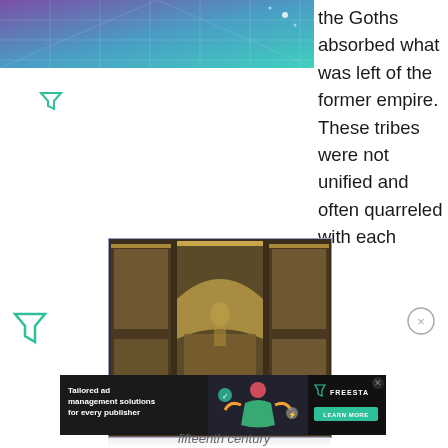[Figure (illustration): Purple and teal gradient banner with grid/mesh pattern and sparkle effects]
[Figure (logo): Small green Freestar filter/funnel icon]
the Goths absorbed what was left of the former empire. These tribes were not unified and often quarreled with each
[Figure (photo): Ornate Gothic altarpiece or cathedral interior with gilded carved figures and painted panels]
[Figure (logo): Green Freestar filter/funnel icon (larger)]
[Figure (logo): Close/X button circle]
[Figure (infographic): Advertisement: Tailored ad management solutions for every publisher - Freestar LEARN MORE button on dark background]
fifteenth century